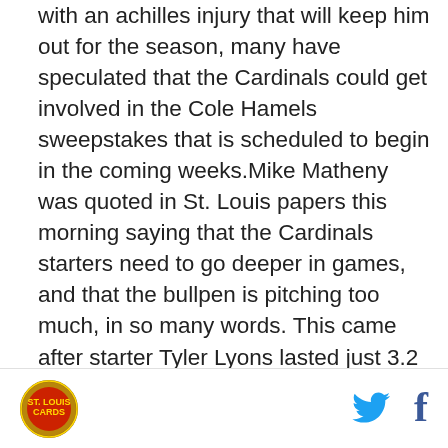with an achilles injury that will keep him out for the season, many have speculated that the Cardinals could get involved in the Cole Hamels sweepstakes that is scheduled to begin in the coming weeks.Mike Matheny was quoted in St. Louis papers this morning saying that the Cardinals starters need to go deeper in games, and that the bullpen is pitching too much, in so many words. This came after starter Tyler Lyons lasted just 3.2 innings yesterday, with the Cardinals pen tossing 6.1 innings. On Friday, Carlos Martinez lasted just five innings, and that was after Michael Wacha lasted just five innings on Thursday and John Lackey lasted 5.1 innings on Wednesday. All needed 100+ pitched to get 15-16 outs recently, and that is not a
[logo] [twitter] [facebook]